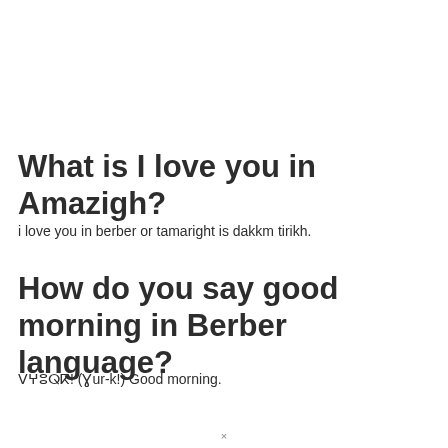What is I love you in Amazigh?
i love you in berber or tamaright is dakkm tirikh.
How do you say good morning in Berber language?
ⴸⵖⵓⵕⴽ! (Ɣur-k!) Good morning.